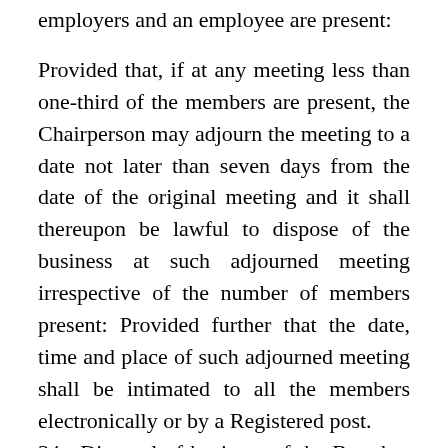employers and an employee are present:
Provided that, if at any meeting less than one-third of the members are present, the Chairperson may adjourn the meeting to a date not later than seven days from the date of the original meeting and it shall thereupon be lawful to dispose of the business at such adjourned meeting irrespective of the number of members present: Provided further that the date, time and place of such adjourned meeting shall be intimated to all the members electronically or by a Registered post.
34. Disposal of business of the Board. – All business of the Board shall be considered at a meeting of the Board, and shall be decided by